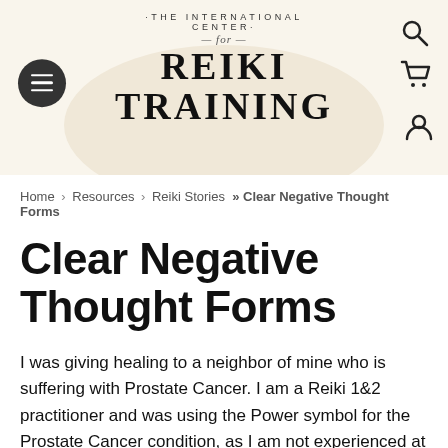[Figure (logo): The International Center for Reiki Training logo with circular text, decorative oval background, hamburger menu button, search icon, cart icon, and account icon]
Home › Resources › Reiki Stories  » Clear Negative Thought Forms
Clear Negative Thought Forms
I was giving healing to a neighbor of mine who is suffering with Prostate Cancer. I am a Reiki 1&2 practitioner and was using the Power symbol for the Prostate Cancer condition, as I am not experienced at any other degrees. The cancer had gone past the cell stage and had entered into his hip/groin